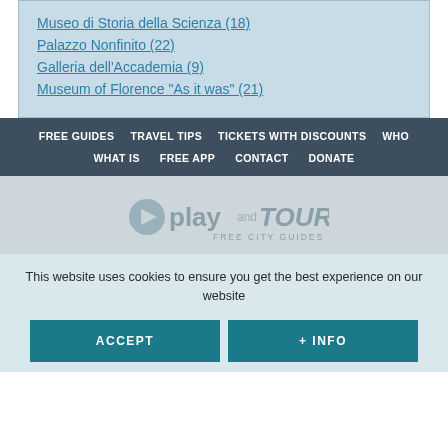Museo di Storia della Scienza (18)
Palazzo Nonfinito (22)
Galleria dell'Accademia (9)
Museum of Florence "As it was" (21)
FREE GUIDES  TRAVEL TIPS  TICKETS WITH DISCOUNTS  WHO  WHAT IS  FREE APP  CONTACT  DONATE
[Figure (logo): Play and Tour Free City Guides logo with play button icon]
This website uses cookies to ensure you get the best experience on our website
ACCEPT  + INFO